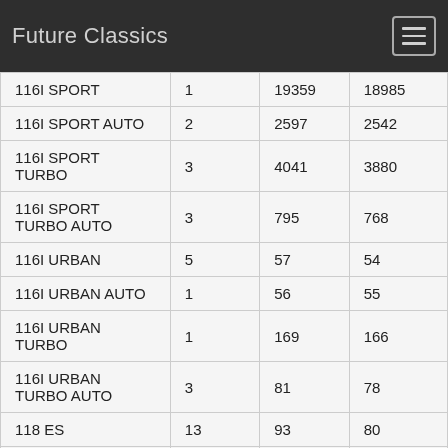Future Classics
| 116I SPORT | 1 | 19359 | 18985 |
| 116I SPORT AUTO | 2 | 2597 | 2542 |
| 116I SPORT TURBO | 3 | 4041 | 3880 |
| 116I SPORT TURBO AUTO | 3 | 795 | 768 |
| 116I URBAN | 5 | 57 | 54 |
| 116I URBAN AUTO | 1 | 56 | 55 |
| 116I URBAN TURBO | 1 | 169 | 166 |
| 116I URBAN TURBO AUTO | 3 | 81 | 78 |
| 118 ES | 13 | 93 | 80 |
| 118 I | 0 | 2 | 2 |